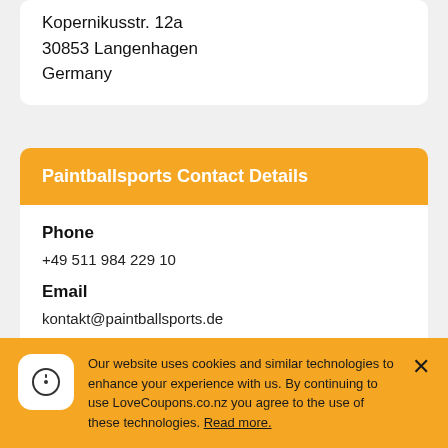Kopernikusstr. 12a
30853 Langenhagen
Germany
Paintballsports Contact Details
Phone
+49 511 984 229 10
Email
kontakt@paintballsports.de
Opening Hour
Our website uses cookies and similar technologies to enhance your experience with us. By continuing to use LoveCoupons.co.nz you agree to the use of these technologies. Read more.